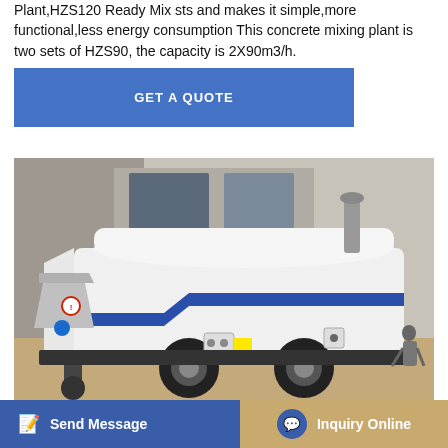Plant,HZS120 Ready Mix sts and makes it simple,more functional,less energy consumption This concrete mixing plant is two sets of HZS90, the capacity is 2X90m3/h.
GET A QUOTE
[Figure (photo): A white concrete pump truck with blue stripe markings, parked in front of a building. The machine has a hopper on the left and wheels, with a cylindrical exhaust stack on top.]
Camelway HZS90 Concrete Batch Plant
Send Message
Inquiry Online